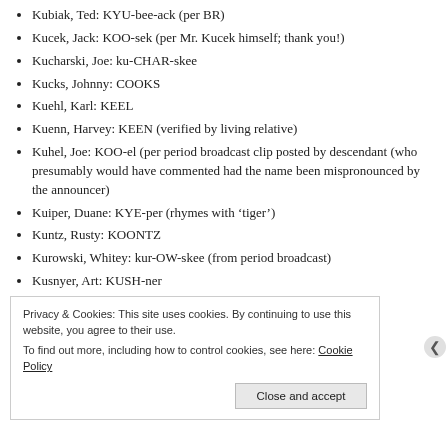Kubiak, Ted: KYU-bee-ack (per BR)
Kucek, Jack: KOO-sek (per Mr. Kucek himself; thank you!)
Kucharski, Joe: ku-CHAR-skee
Kucks, Johnny: COOKS
Kuehl, Karl: KEEL
Kuenn, Harvey: KEEN (verified by living relative)
Kuhel, Joe: KOO-el (per period broadcast clip posted by descendant (who presumably would have commented had the name been mispronounced by the announcer)
Kuiper, Duane: KYE-per (rhymes with ‘tiger’)
Kuntz, Rusty: KOONTZ
Kurowski, Whitey: kur-OW-skee (from period broadcast)
Kusnyer, Art: KUSH-ner
Privacy & Cookies: This site uses cookies. By continuing to use this website, you agree to their use.
To find out more, including how to control cookies, see here: Cookie Policy
Close and accept